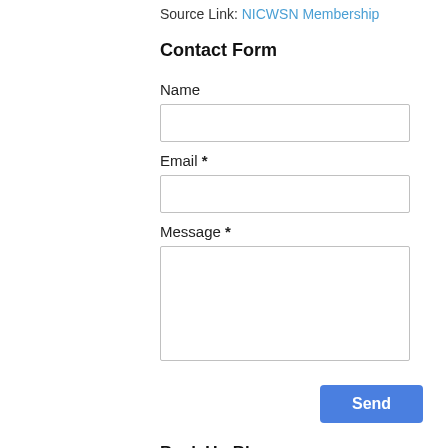Source Link: NICWSN Membership
Contact Form
Name
Email *
Message *
Send
Back Up Blog
American Indian Adoptees
NEW WEB ADDRESS
Please update your information, this blog may change and...